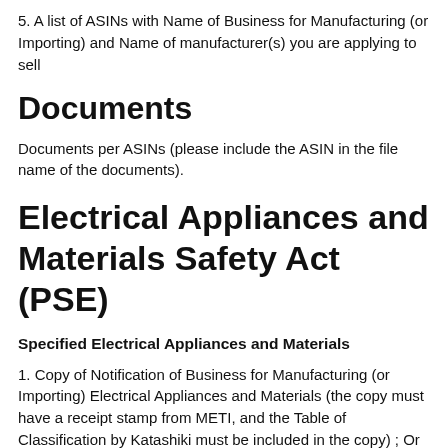5. A list of ASINs with Name of Business for Manufacturing (or Importing) and Name of manufacturer(s) you are applying to sell
Documents
Documents per ASINs (please include the ASIN in the file name of the documents).
Electrical Appliances and Materials Safety Act (PSE)
Specified Electrical Appliances and Materials
1. Copy of Notification of Business for Manufacturing (or Importing) Electrical Appliances and Materials (the copy must have a receipt stamp from METI, and the Table of Classification by Katashiki must be included in the copy) ; Or